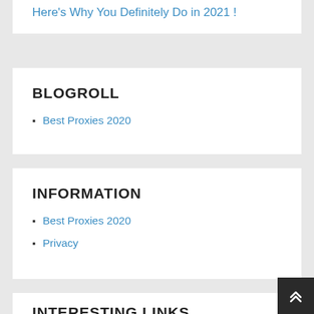Here's Why You Definitely Do in 2021 !
BLOGROLL
Best Proxies 2020
INFORMATION
Best Proxies 2020
Privacy
INTERESTING LINKS